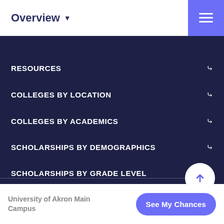Overview ▼
RESOURCES
COLLEGES BY LOCATION
COLLEGES BY ACADEMICS
SCHOLARSHIPS BY DEMOGRAPHICS
SCHOLARSHIPS BY GRADE LEVEL
University of Akron Main Campus
See My Chances